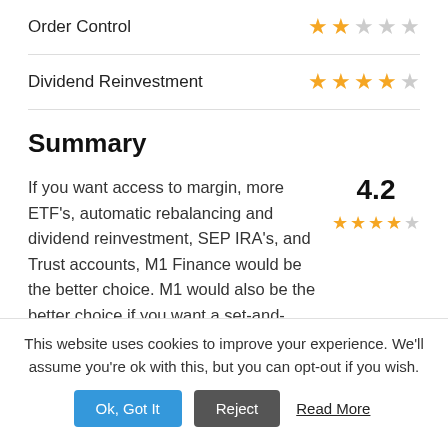| Feature | Rating |
| --- | --- |
| Order Control | 2/5 stars |
| Dividend Reinvestment | 4/5 stars |
Summary
If you want access to margin, more ETF's, automatic rebalancing and dividend reinvestment, SEP IRA's, and Trust accounts, M1 Finance would be the better choice. M1 would also be the better choice if you want a set-and-
4.2
This website uses cookies to improve your experience. We'll assume you're ok with this, but you can opt-out if you wish.
Ok, Got It   Reject   Read More